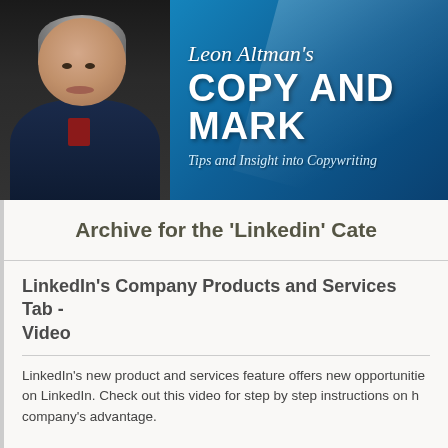[Figure (photo): Header banner with photo of Leon Altman on the left (older man with gray hair, smiling, wearing dark jacket) and blue gradient background on the right with text: Leon Altman's COPY AND MARK[ETING], Tips and Insight into Copywriting]
Archive for the 'Linkedin' Cate[gory]
LinkedIn's Company Products and Services Tab - Video
LinkedIn's new product and services feature offers new opportunities on LinkedIn. Check out this video for step by step instructions on ho[w to use it to your] company's advantage.